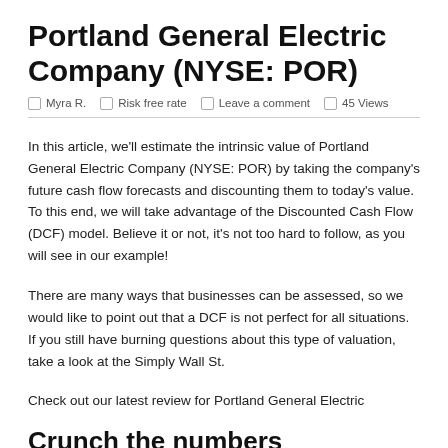Portland General Electric Company (NYSE: POR)
Myra R.  Risk free rate  Leave a comment  45 Views
In this article, we'll estimate the intrinsic value of Portland General Electric Company (NYSE: POR) by taking the company's future cash flow forecasts and discounting them to today's value. To this end, we will take advantage of the Discounted Cash Flow (DCF) model. Believe it or not, it's not too hard to follow, as you will see in our example!
There are many ways that businesses can be assessed, so we would like to point out that a DCF is not perfect for all situations. If you still have burning questions about this type of valuation, take a look at the Simply Wall St.
Check out our latest review for Portland General Electric
Crunch the numbers